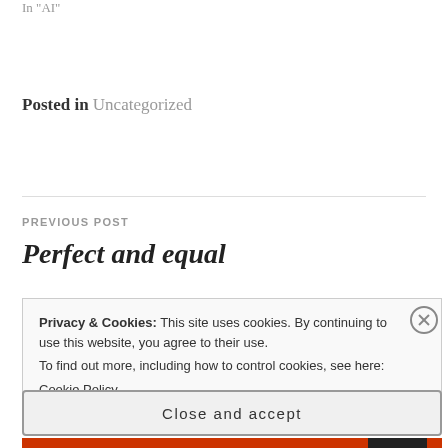In "AI"
Posted in Uncategorized
PREVIOUS POST
Perfect and equal
Privacy & Cookies: This site uses cookies. By continuing to use this website, you agree to their use.
To find out more, including how to control cookies, see here:
Cookie Policy
Close and accept